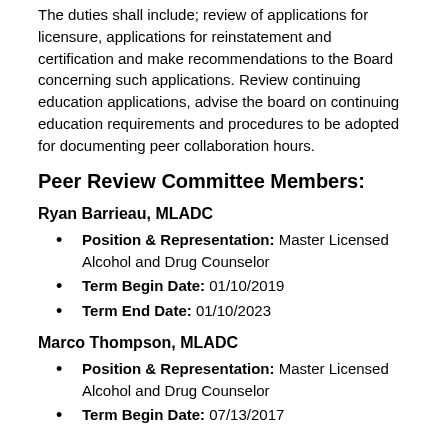The duties shall include; review of applications for licensure, applications for reinstatement and certification and make recommendations to the Board concerning such applications. Review continuing education applications, advise the board on continuing education requirements and procedures to be adopted for documenting peer collaboration hours.
Peer Review Committee Members:
Ryan Barrieau, MLADC
Position & Representation: Master Licensed Alcohol and Drug Counselor
Term Begin Date: 01/10/2019
Term End Date: 01/10/2023
Marco Thompson, MLADC
Position & Representation: Master Licensed Alcohol and Drug Counselor
Term Begin Date: 07/13/2017